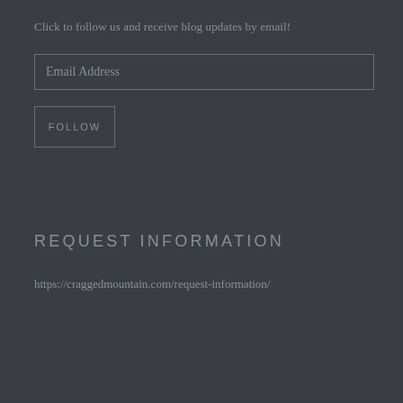Click to follow us and receive blog updates by email!
Email Address
FOLLOW
REQUEST INFORMATION
https://craggedmountain.com/request-information/